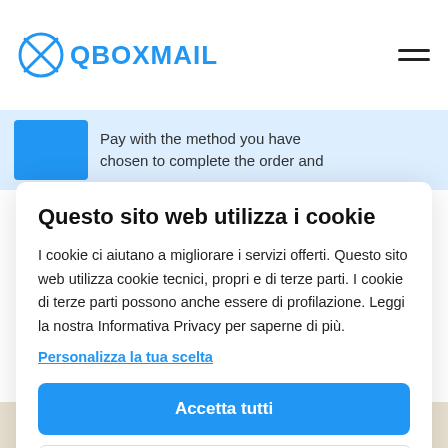QBOXMAIL
[Figure (screenshot): Partially visible web page background showing a blue icon and truncated text: 'Pay with the method you have chosen to complete the order and']
Questo sito web utilizza i cookie
I cookie ci aiutano a migliorare i servizi offerti. Questo sito web utilizza cookie tecnici, propri e di terze parti. I cookie di terze parti possono anche essere di profilazione. Leggi la nostra Informativa Privacy per saperne di più.
Personalizza la tua scelta
Accetta tutti
Accetta solo necessari
[Figure (screenshot): Partially visible bottom strip with truncated text: 'Control panel and start adding and']